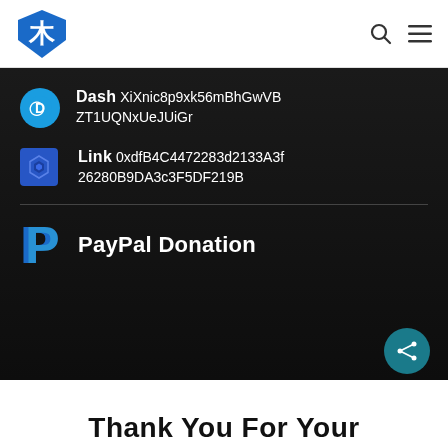[Figure (logo): Shield logo with white T symbol on blue background, top-right has search icon and hamburger menu icon]
Dash XiXnic8p9xk56mBhGwVBZT1UQNxUeJUiGr
Link 0xdfB4C4472283d2133A3f26280B9DA3c3F5DF219B
PayPal Donation
Thank You For Your